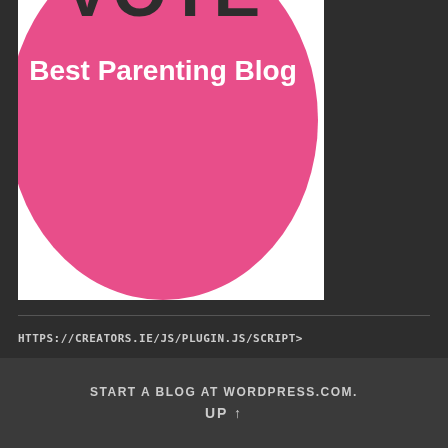[Figure (illustration): Pink circular badge/button with 'VOTE' text at top (partially cropped) and 'Best Parenting Blog' text below, on a white background]
HTTPS://CREATORS.IE/JS/PLUGIN.JS/SCRIPT>
» RSS - Posts
» RSS - Comments
START A BLOG AT WORDPRESS.COM.
UP ↑